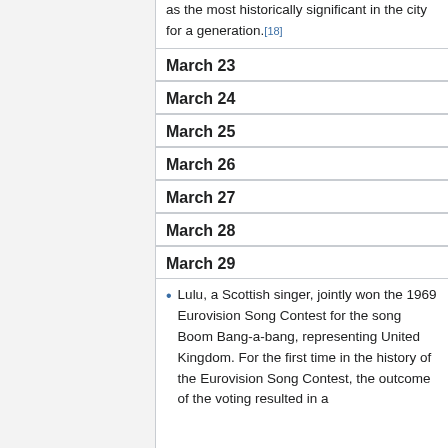as the most historically significant in the city for a generation.[18]
March 23
March 24
March 25
March 26
March 27
March 28
March 29
Lulu, a Scottish singer, jointly won the 1969 Eurovision Song Contest for the song Boom Bang-a-bang, representing United Kingdom. For the first time in the history of the Eurovision Song Contest, the outcome of the voting resulted in a